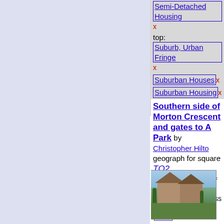[Figure (screenshot): Left sidebar panel with light blue/lavender background]
Semi-Detached Housing x
top: Suburb, Urban Fringe x
Suburban Houses x
Suburban Housing x
Southern side of Morton Crescent and gates to A Park by Christopher Hilto... geograph for square TQ2...
In the bottom right of the picture path that leads across the centr... (more)
Tags:
1930s Semi-Detached Hous...
type: Geograph x  Houses x
top: Housing, Dwellings x
houses: Mid-20C Semi-Deta...
[Figure (photo): Photograph of southern side of Morton Crescent showing semi-detached houses with green lawn and trees]
top: Park and Public Garde...
Park Gates x
housing: Semi Detached x
Semi Detached x